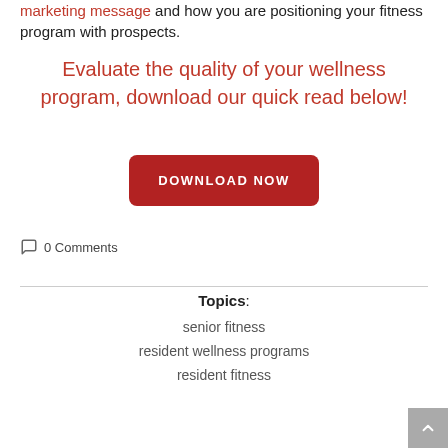marketing message and how you are positioning your fitness program with prospects.
Evaluate the quality of your wellness program, download our quick read below!
DOWNLOAD NOW
0 Comments
Topics:
senior fitness
resident wellness programs
resident fitness